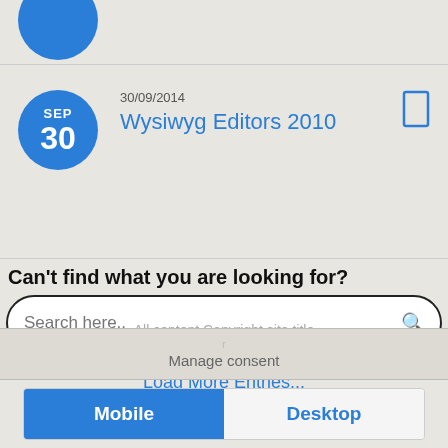[Figure (screenshot): Partially visible blue circular date badge at top of page (cropped)]
30/09/2014
Wysiwyg Editors 2010
Can't find what you are looking for?
[Figure (screenshot): Search input box with placeholder 'Search here..' and a magnifying glass icon]
Load More Entries...
All content Copyright site title
Manage consent
[Figure (screenshot): Mobile/Desktop toggle bar at bottom — Mobile button active (blue), Desktop button inactive]